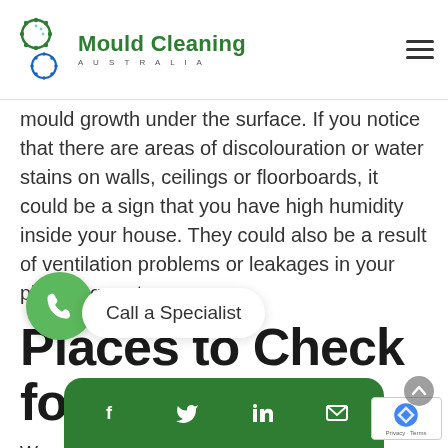Mould Cleaning AUSTRALIA
mould growth under the surface. If you notice that there are areas of discolouration or water stains on walls, ceilings or floorboards, it could be a sign that you have high humidity inside your house. They could also be a result of ventilation problems or leakages in your plumbing system.
Places to Check for Mould
W... oul... ow and reproduce, they become visible... some mould grows in areas... howing
[Figure (other): Green phone call button (circle), Call a Specialist popup, social sharing bar with Facebook, Twitter, LinkedIn, Email icons, reCAPTCHA badge]